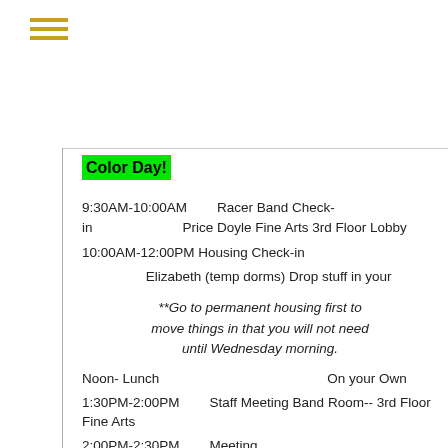≡ (hamburger menu icon)
Color Day!
9:30AM-10:00AM        Racer Band Check-in                                Price Doyle Fine Arts 3rd Floor Lobby
10:00AM-12:00PM Housing Check-in
Elizabeth (temp dorms) Drop stuff in your
**Go to permanent housing first to move things in that you will not need until Wednesday morning.
Noon- Lunch                                                                On your Own
1:30PM-2:00PM        Staff Meeting Band Room-- 3rd Floor Fine Arts
2:00PM-2:30PM        Meeting (EVERYONE)                             PAH
2:30PM-5:00PM        Percussion/Pit